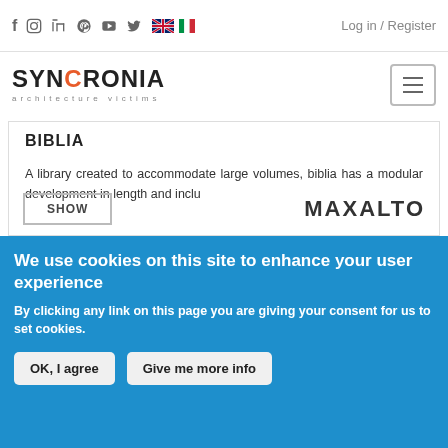f  instagram  in  pinterest  youtube  twitter  [UK flag] [IT flag]  Log in / Register
[Figure (logo): SYNCRONIA architecture victims logo with hamburger menu button]
BIBLIA
A library created to accommodate large volumes, biblia has a modular development in length and inclu
[Figure (other): SHOW button and MAXALTO logo at bottom of card]
We use cookies on this site to enhance your user experience
By clicking any link on this page you are giving your consent for us to set cookies.
OK, I agree    Give me more info